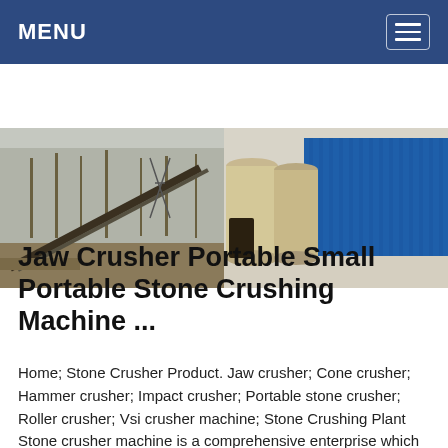MENU
[Figure (photo): Two side-by-side industrial photos: left shows a conveyor belt structure in a bare-tree landscape; right shows cylindrical silos and a blue corrugated storage building at an industrial facility.]
Jaw Crusher Portable Small Portable Stone Crushing Machine ...
Home; Stone Crusher Product. Jaw crusher; Cone crusher; Hammer crusher; Impact crusher; Portable stone crusher; Roller crusher; Vsi crusher machine; Stone Crushing Plant Stone crusher machine is a comprehensive enterprise which integrates researching, manufacturing,